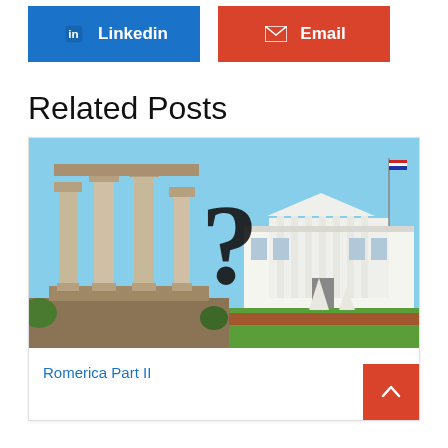[Figure (screenshot): LinkedIn share button (blue) and Email share button (red)]
Related Posts
[Figure (photo): Composite photo showing ancient Roman columns on the left blended with the White House on the right, with a large question mark in the center]
Romerica Part II